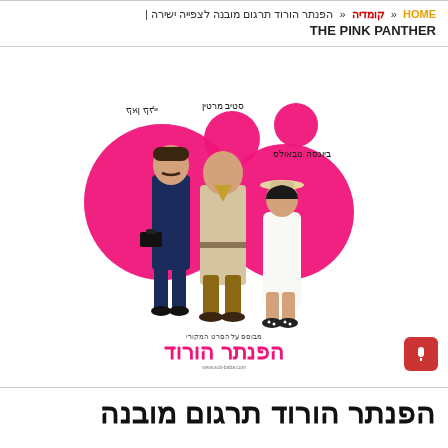HOME « קומדיה « הפנתר הורוד תרגום מובנה לצפייה ישירה | THE PINK PANTHER
[Figure (photo): Movie poster for The Pink Panther (הפנתר הורוד) showing three characters standing against a pink panther paw print background: a man in a dark suit on the left, a man in a trench coat in the center, and a woman in a white dress on the right. Hebrew actor names and movie title in pink at bottom.]
הפנתר הורוד תרגום מובנה